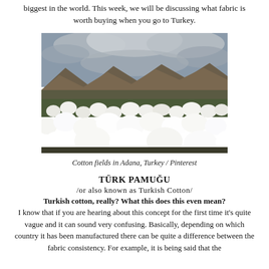biggest in the world. This week, we will be discussing what fabric is worth buying when you go to Turkey.
[Figure (photo): Cotton fields in Adana, Turkey showing white fluffy cotton plants in foreground with mountains and cloudy sky in background]
Cotton fields in Adana, Turkey / Pinterest
TÜRK PAMUĞU
/or also known as Turkish Cotton/
Turkish cotton, really? What this does this even mean? I know that if you are hearing about this concept for the first time it's quite vague and it can sound very confusing. Basically, depending on which country it has been manufactured there can be quite a difference between the fabric consistency. For example, it is being said that the